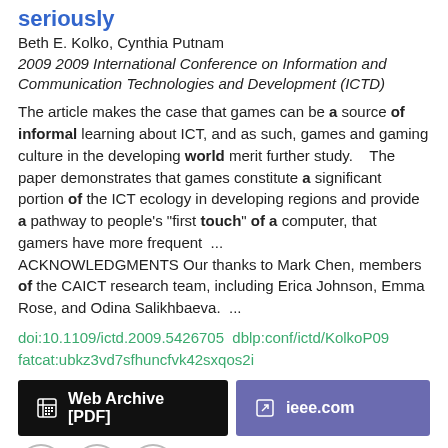seriously
Beth E. Kolko, Cynthia Putnam
2009 2009 International Conference on Information and Communication Technologies and Development (ICTD)
The article makes the case that games can be a source of informal learning about ICT, and as such, games and gaming culture in the developing world merit further study.  ...  The paper demonstrates that games constitute a significant portion of the ICT ecology in developing regions and provide a pathway to people's "first touch" of a computer, that gamers have more frequent  ...  ACKNOWLEDGMENTS Our thanks to Mark Chen, members of the CAICT research team, including Erica Johnson, Emma Rose, and Odina Salikhbaeva.  ...
doi:10.1109/ictd.2009.5426705  dblp:conf/ictd/KolkoP09  fatcat:ubkz3vd7sfhuncfvk42sxqos2i
[Figure (other): Web Archive [PDF] button (black) and ieee.com button (purple)]
[Figure (other): Three circular icon buttons: quote, edit, link]
EMDialog: Bringing Information Visualization into the Museum